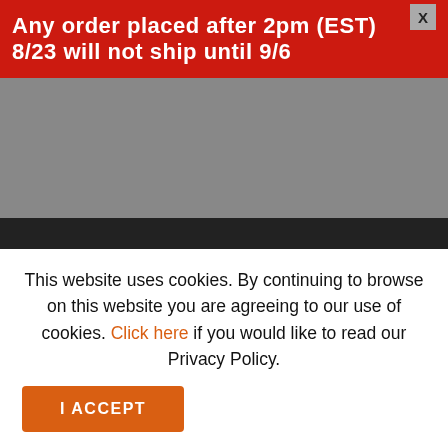Any order placed after 2pm (EST) 8/23 will not ship until 9/6
[Figure (other): Gray navigation/header area]
FOLLOW US
[Figure (infographic): Three orange rounded square social media icons: Facebook (f), Twitter (bird), Instagram (camera)]
This website uses cookies. By continuing to browse on this website you are agreeing to our use of cookies. Click here if you would like to read our Privacy Policy.
I ACCEPT